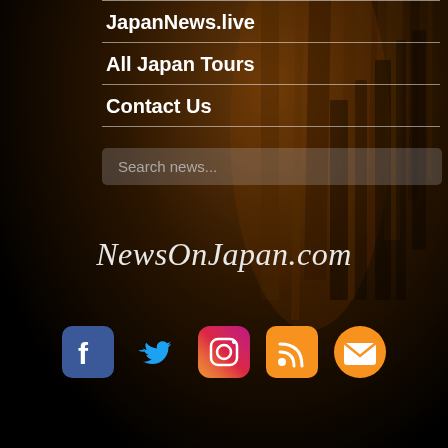JapanNews.live
All Japan Tours
Contact Us
Search news...
NewsOnJapan.com
[Figure (infographic): Social media icons row: Facebook (blue), Twitter (cyan bird), Instagram (gradient), RSS (orange), Email/envelope (orange)]